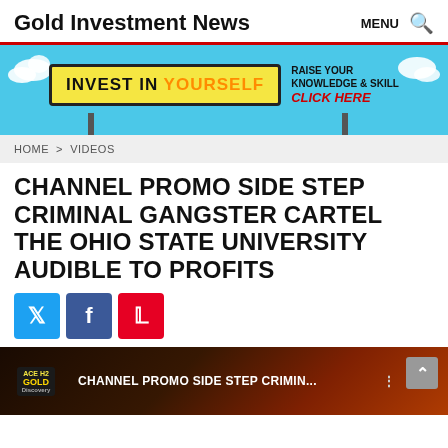Gold Investment News  MENU 🔍
[Figure (illustration): Advertisement banner with sky blue background showing a billboard that reads 'INVEST IN YOURSELF' in bold black text on yellow background, with text 'RAISE YOUR KNOWLEDGE & SKILL CLICK HERE' in red italic bold on the right side. White clouds are visible on the sides.]
HOME > VIDEOS
CHANNEL PROMO SIDE STEP CRIMINAL GANGSTER CARTEL THE OHIO STATE UNIVERSITY AUDIBLE TO PROFITS
[Figure (illustration): Social share buttons: Twitter (blue), Facebook (dark blue), Pinterest (red) with respective icons]
[Figure (screenshot): Video player preview showing a dark/reddish thumbnail with a logo on the left and the text 'CHANNEL PROMO SIDE STEP CRIMIN...' in white. A scroll-to-top button (gray arrow up) is shown in the top right corner.]